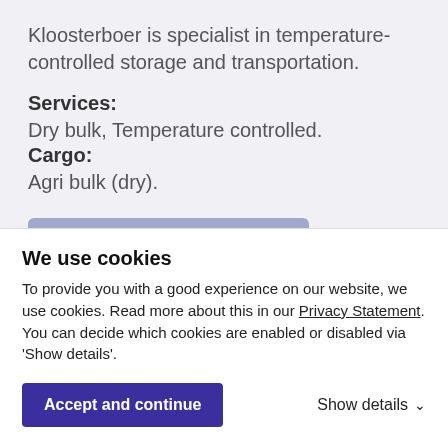Kloosterboer is specialist in temperature-controlled storage and transportation.
Services:
Dry bulk, Temperature controlled.
Cargo:
Agri bulk (dry).
More information & contact
We use cookies
To provide you with a good experience on our website, we use cookies. Read more about this in our Privacy Statement. You can decide which cookies are enabled or disabled via 'Show details'.
Accept and continue
Show details